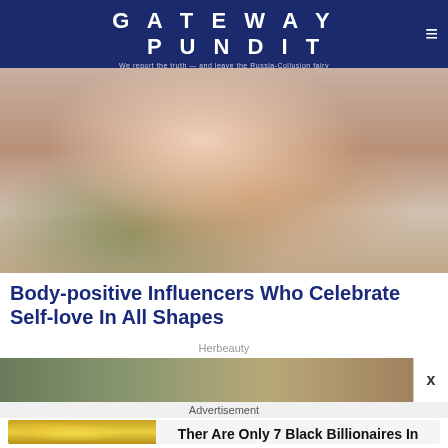GATEWAY PUNDIT
We report the truth — and leave the Russia-Collusion fairy tale to the Conspiracy media
[Figure (photo): Hero image of a woman in a sparkly pink top posing with hand behind head, wearing large earrings]
Body-positive Influencers Who Celebrate Self-love In All Shapes
Herbeauty
[Figure (photo): Banner advertisement image showing person outdoors]
x
Advertisement
[Figure (photo): Ad card image of person in yellow outfit]
Ther Are Only 7 Black Billionaires In America - Who Are They?
Brainberries